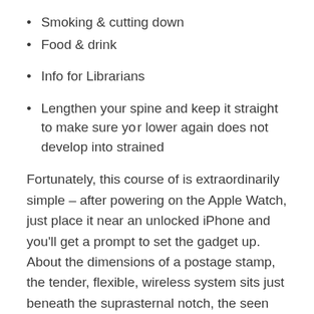Smoking & cutting down
Food & drink
Info for Librarians
Lengthen your spine and keep it straight to make sure your lower again does not develop into strained
Fortunately, this course of is extraordinarily simple – after powering on the Apple Watch, just place it near an unlocked iPhone and you'll get a prompt to set the gadget up. About the dimensions of a postage stamp, the tender, flexible, wireless system sits just beneath the suprasternal notch, the seen dip at the bottom of the throat-an excellent